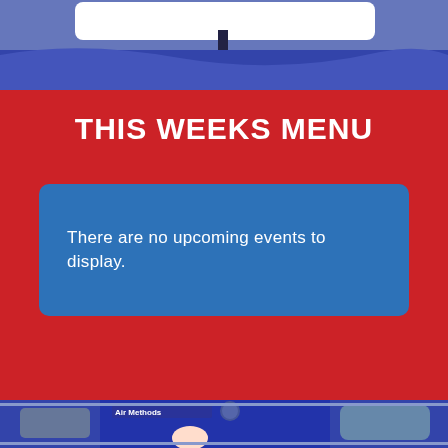[Figure (photo): Top portion of a photo showing a blue vehicle/helicopter against a blue fabric backdrop, partially cropped]
THIS WEEKS MENU
There are no upcoming events to display.
[Figure (photo): Photo of children inside an Air Methods helicopter, blue helicopter interior visible with kids smiling]